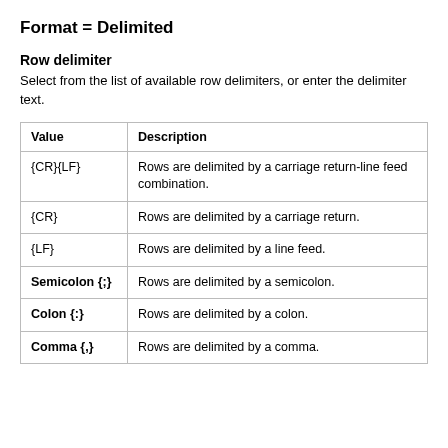Format = Delimited
Row delimiter
Select from the list of available row delimiters, or enter the delimiter text.
| Value | Description |
| --- | --- |
| {CR}{LF} | Rows are delimited by a carriage return-line feed combination. |
| {CR} | Rows are delimited by a carriage return. |
| {LF} | Rows are delimited by a line feed. |
| Semicolon {;} | Rows are delimited by a semicolon. |
| Colon {:} | Rows are delimited by a colon. |
| Comma {,} | Rows are delimited by a comma. |